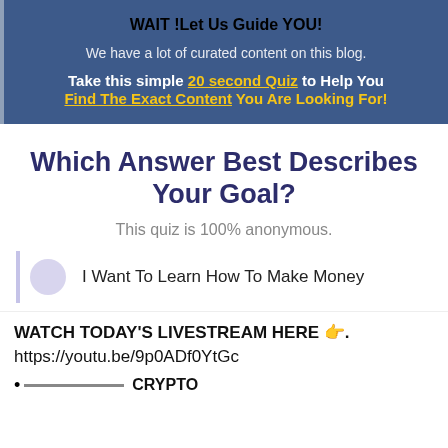WAIT !Let Us Guide YOU!
We have a lot of curated content on this blog.
Take this simple 20 second Quiz to Help You Find The Exact Content You Are Looking For!
Which Answer Best Describes Your Goal?
This quiz is 100% anonymous.
I Want To Learn How To Make Money
WATCH TODAY'S LIVESTREAM HERE 👉. https://youtu.be/9p0ADf0YtGc
CRYPTO